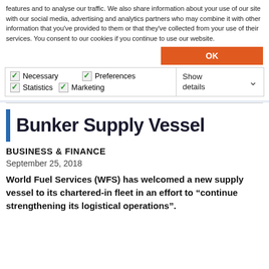features and to analyse our traffic. We also share information about your use of our site with our social media, advertising and analytics partners who may combine it with other information that you've provided to them or that they've collected from your use of their services. You consent to our cookies if you continue to use our website.
OK
Necessary  Preferences  Statistics  Marketing  Show details
Bunker Supply Vessel
BUSINESS & FINANCE
September 25, 2018
World Fuel Services (WFS) has welcomed a new supply vessel to its chartered-in fleet in an effort to “continue strengthening its logistical operations”.